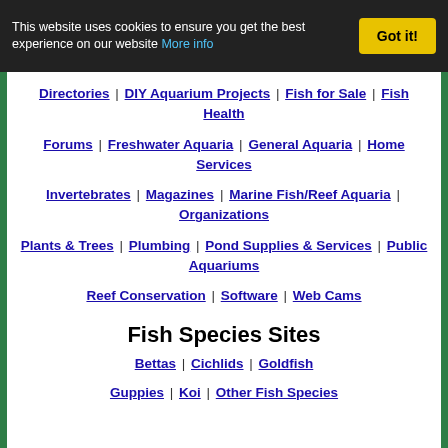This website uses cookies to ensure you get the best experience on our website More info Got it!
Directories | DIY Aquarium Projects | Fish for Sale | Fish Health
Forums | Freshwater Aquaria | General Aquaria | Home Services
Invertebrates | Magazines | Marine Fish/Reef Aquaria | Organizations
Plants & Trees | Plumbing | Pond Supplies & Services | Public Aquariums
Reef Conservation | Software | Web Cams
Fish Species Sites
Bettas | Cichlids | Goldfish
Guppies | Koi | Other Fish Species